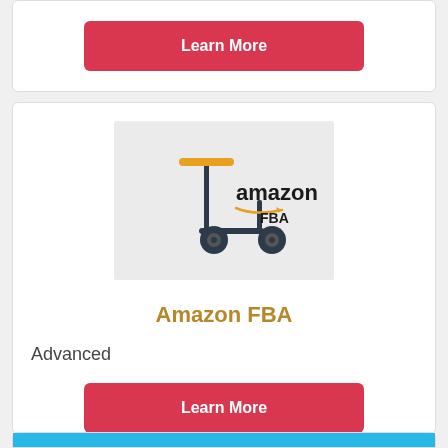[Figure (other): A red 'Learn More' button at the top of the page, part of a card]
[Figure (illustration): Amazon FBA logo with a scooter illustration on a grey background]
Amazon FBA
Advanced
[Figure (other): A red 'Learn More' button]
[Figure (illustration): Partial view of another card at the bottom with a blue background image showing paper planes]